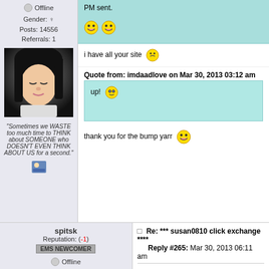Offline
Gender: ♀
Posts: 14556
Referrals: 1
[Figure (photo): Profile photo of a young Asian woman with dark hair and bangs, looking down]
"Sometimes we WASTE too much time to THINK about SOMEONE who DOESN'T EVEN THINK ABOUT US for a second."
PM sent. [grin emoji x2]
i have all your site [emoji]
Quote from: imdaadlove on Mar 30, 2013 03:12 am
up! [cool emoji]
thank you for the bump yarr [grin emoji]
spitsk
Reputation: (-1)
EMS NEWCOMER
Offline
Posts: 29
Referrals: 0
Re: *** susan0810 click exchange ****
Reply #265: Mar 30, 2013 06:11 am
my reference link:
http://www.neobux.com/?r=renatocf

Register and send me messages with yours! PM

Cumps